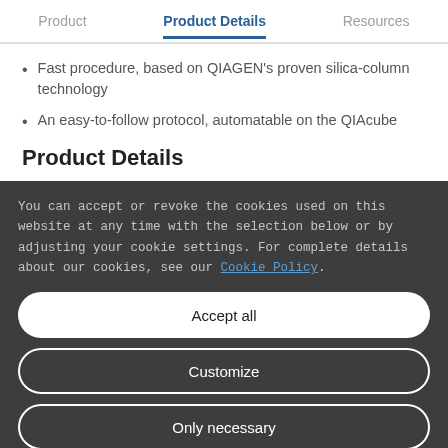Product | Product Details | Resources
Fast procedure, based on QIAGEN's proven silica-column technology
An easy-to-follow protocol, automatable on the QIAcube
Product Details
You can accept or revoke the cookies used on this website at any time with the selection below or by adjusting your cookie settings. For complete details about our cookies, see our Cookie Policy.
Accept all
Customize
Only necessary